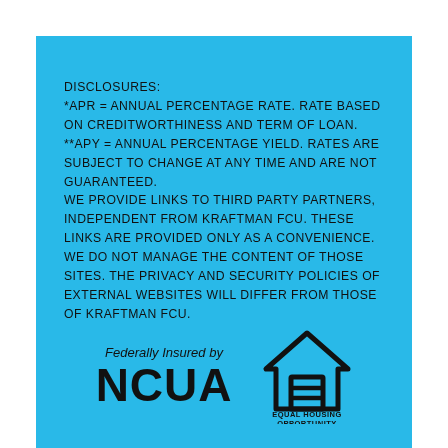DISCLOSURES:
*APR = ANNUAL PERCENTAGE RATE. RATE BASED ON CREDITWORTHINESS AND TERM OF LOAN.
**APY = ANNUAL PERCENTAGE YIELD. RATES ARE SUBJECT TO CHANGE AT ANY TIME AND ARE NOT GUARANTEED.
WE PROVIDE LINKS TO THIRD PARTY PARTNERS, INDEPENDENT FROM KRAFTMAN FCU. THESE LINKS ARE PROVIDED ONLY AS A CONVENIENCE. WE DO NOT MANAGE THE CONTENT OF THOSE SITES. THE PRIVACY AND SECURITY POLICIES OF EXTERNAL WEBSITES WILL DIFFER FROM THOSE OF KRAFTMAN FCU.
[Figure (logo): Federally Insured by NCUA logo and Equal Housing Opportunity logo]